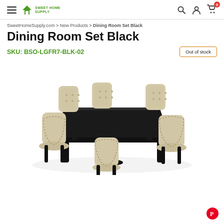Sweet Home Supply — navigation header with hamburger menu, logo, search, account, and cart icons
SweetHomeSupply.com > New Products > Dining Room Set Black
Dining Room Set Black
SKU: BSO-LGFR7-BLK-02
Out of stock
[Figure (photo): A 7-piece dining room set featuring a large rectangular black table with ornate legs, surrounded by six upholstered chairs with beige/cream linen fabric and nailhead trim on black legs.]